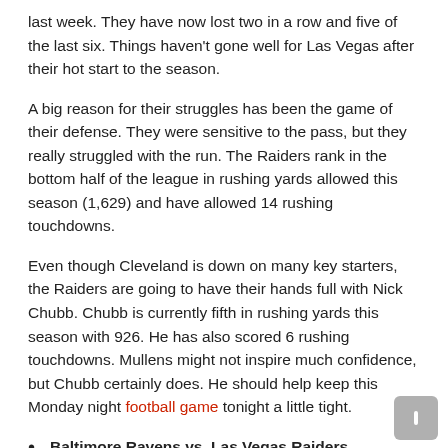last week. They have now lost two in a row and five of the last six. Things haven't gone well for Las Vegas after their hot start to the season.
A big reason for their struggles has been the game of their defense. They were sensitive to the pass, but they really struggled with the run. The Raiders rank in the bottom half of the league in rushing yards allowed this season (1,629) and have allowed 14 rushing touchdowns.
Even though Cleveland is down on many key starters, the Raiders are going to have their hands full with Nick Chubb. Chubb is currently fifth in rushing yards this season with 926. He has also scored 6 rushing touchdowns. Mullens might not inspire much confidence, but Chubb certainly does. He should help keep this Monday night football game tonight a little tight.
Baltimore Ravens vs. Las Vegas Raiders – September 13
Final: Raiders 33, Ravens 27 (OT)
Detroit Lions at Green Bay Packers – September 20